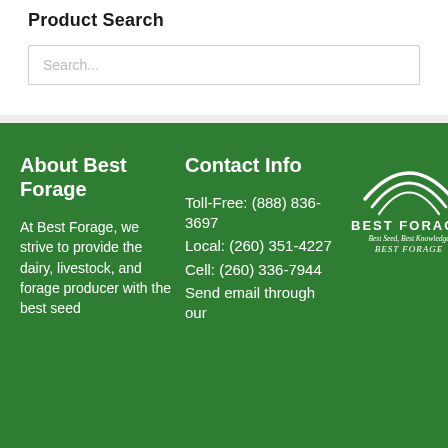Product Search
Search...
About Best Forage
At Best Forage, we strive to provide the dairy, livestock, and forage producer with the best seed
Contact Info
Toll-Free: (888) 836-3697
Local: (260) 351-4227
Cell: (260) 336-7944
Send email through our
[Figure (logo): Best Forage logo with arc lines above text reading BEST FORAGE, Best Seed, Best Knowledge, BEST FORAGE]